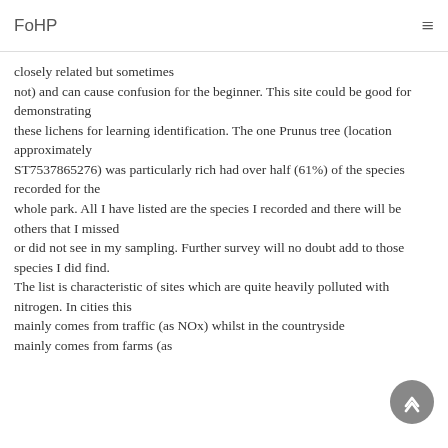FoHP
closely related but sometimes not) and can cause confusion for the beginner. This site could be good for demonstrating these lichens for learning identification. The one Prunus tree (location approximately ST7537865276) was particularly rich had over half (61%) of the species recorded for the whole park. All I have listed are the species I recorded and there will be others that I missed or did not see in my sampling. Further survey will no doubt add to those species I did find. The list is characteristic of sites which are quite heavily polluted with nitrogen. In cities this mainly comes from traffic (as NOx) whilst in the countryside mainly comes from farms (as